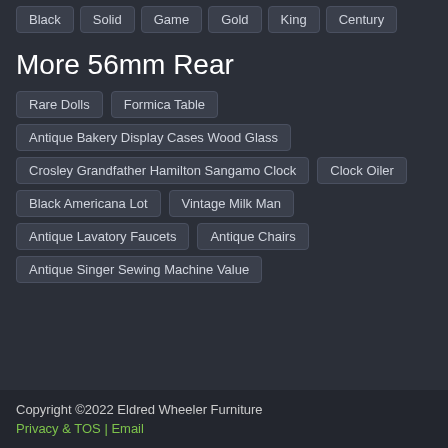Black
Solid
Game
Gold
King
Century
More 56mm Rear
Rare Dolls
Formica Table
Antique Bakery Display Cases Wood Glass
Crosley Grandfather Hamilton Sangamo Clock
Clock Oiler
Black Americana Lot
Vintage Milk Man
Antique Lavatory Faucets
Antique Chairs
Antique Singer Sewing Machine Value
Copyright ©2022 Eldred Wheeler Furniture
Privacy & TOS | Email